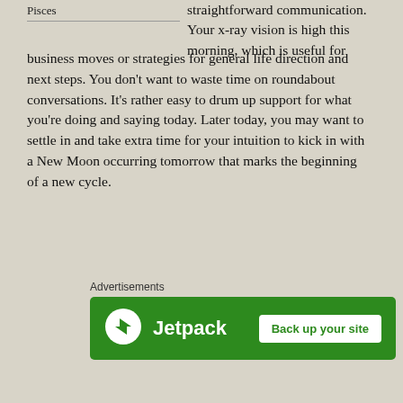Pisces
straightforward communication. Your x-ray vision is high this morning, which is useful for business moves or strategies for general life direction and next steps. You don't want to waste time on roundabout conversations. It's rather easy to drum up support for what you're doing and saying today. Later today, you may want to settle in and take extra time for your intuition to kick in with a New Moon occurring tomorrow that marks the beginning of a new cycle.
Advertisements
[Figure (other): Jetpack advertisement banner with green background, Jetpack logo icon, brand name 'Jetpack', and white button 'Back up your site']